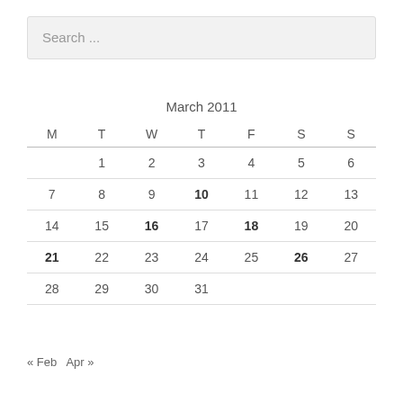Search ...
March 2011
| M | T | W | T | F | S | S |
| --- | --- | --- | --- | --- | --- | --- |
|  | 1 | 2 | 3 | 4 | 5 | 6 |
| 7 | 8 | 9 | 10 | 11 | 12 | 13 |
| 14 | 15 | 16 | 17 | 18 | 19 | 20 |
| 21 | 22 | 23 | 24 | 25 | 26 | 27 |
| 28 | 29 | 30 | 31 |  |  |  |
<< Feb   Apr >>